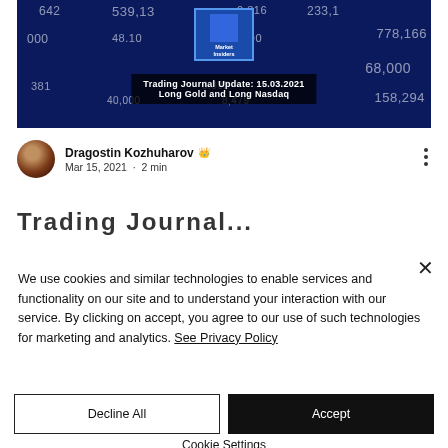[Figure (screenshot): Thumbnail image of a trading journal blog post. Dark blue stock market background with numbers (539,13 / 0.316 / 233.1 / 48.10 / 1,190 / 778,166 / 68,000 / 0.332 / 8,479 / 158,294 etc). A 'Market Insiders' badge with a blue square logo. Text overlay reads: 'Trading Journal Update: 15.03.2021 / Long Gold and Long Nasdaq'.]
Dragostin Kozhuharov 👑
Mar 15, 2021 · 2 min
Trading Journal...
We use cookies and similar technologies to enable services and functionality on our site and to understand your interaction with our service. By clicking on accept, you agree to our use of such technologies for marketing and analytics. See Privacy Policy
Decline All
Accept
Cookie Settings